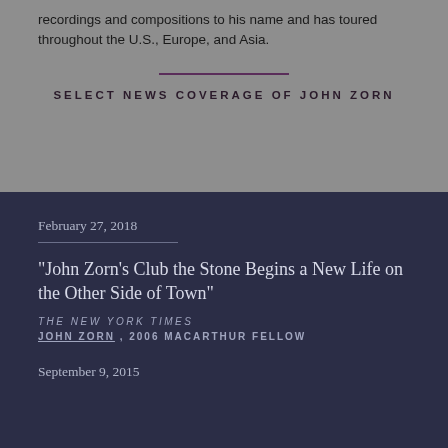recordings and compositions to his name and has toured throughout the U.S., Europe, and Asia.
SELECT NEWS COVERAGE OF JOHN ZORN
February 27, 2018
"John Zorn's Club the Stone Begins a New Life on the Other Side of Town"
THE NEW YORK TIMES
JOHN ZORN , 2006 MACARTHUR FELLOW
September 9, 2015